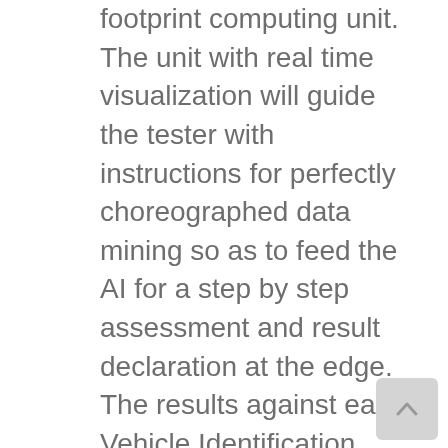footprint computing unit. The unit with real time visualization will guide the tester with instructions for perfectly choreographed data mining so as to feed the AI for a step by step assessment and result declaration at the edge. The results against each Vehicle Identification Number (VIN) are sent from the edge to the OEM's cloud for archiving. This digital detailed powertrain health record would bring unprecedented quality control and management ensuring every vehicle leaving the factory is as perfect as the other. A variant of this solution for the OEM dealership